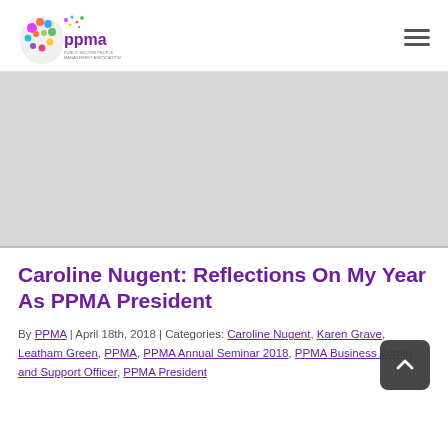[Figure (logo): PPMA logo — colorful brain/head silhouette with 'ppma' text and small text 'PUBLIC SECTOR PEOPLE MANAGEMENT ASSOCIATION']
[Figure (photo): Large banner/image area — grey placeholder, likely a photo related to the article]
Caroline Nugent: Reflections On My Year As PPMA President
By PPMA | April 18th, 2018 | Categories: Caroline Nugent, Karen Grave, Leatham Green, PPMA, PPMA Annual Seminar 2018, PPMA Business Admin and Support Officer, PPMA President